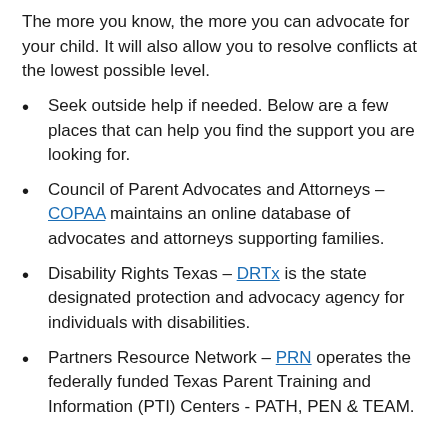The more you know, the more you can advocate for your child. It will also allow you to resolve conflicts at the lowest possible level.
Seek outside help if needed. Below are a few places that can help you find the support you are looking for.
Council of Parent Advocates and Attorneys – COPAA maintains an online database of advocates and attorneys supporting families.
Disability Rights Texas – DRTx is the state designated protection and advocacy agency for individuals with disabilities.
Partners Resource Network – PRN operates the federally funded Texas Parent Training and Information (PTI) Centers - PATH, PEN & TEAM.